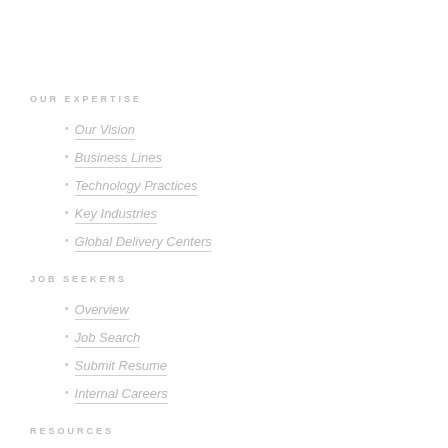OUR EXPERTISE
Our Vision
Business Lines
Technology Practices
Key Industries
Global Delivery Centers
JOB SEEKERS
Overview
Job Search
Submit Resume
Internal Careers
RESOURCES